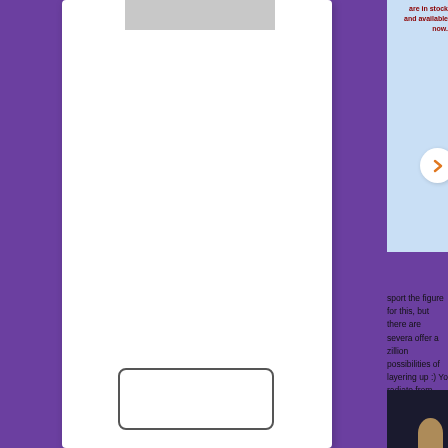[Figure (screenshot): Purple textured background with a white sidebar panel on the left containing a gray image placeholder at the top and a white rounded rectangle widget/button below. Top right shows a light blue advertisement banner with dark red bold text reading 'are in stock' and 'and available now.' with a chip image and a white circular navigation arrow with an orange chevron. Main content area shows partial text about fashion/style. Bottom shows a dark photograph of a person with light hair.]
sport the figure for this, but there are severa offer a zillion possibilities of layering up :) Yo radiate from you like in this picture.